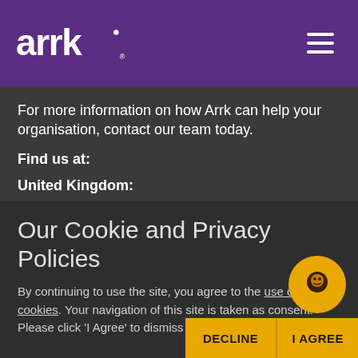[Figure (logo): Arrk logo in white on purple background, with hamburger menu icon on the right]
For more information on how Arrk can help your organisation, contact our team today.
Find us at:
United Kingdom:
11 Wimborne Avenue, Urmston, Manchester, M41 0RT. Phone: +44 161 227 9000
Our Cookie and Privacy Policies
By continuing to use the site, you agree to the use of cookies. Your navigation of this site is taken as consent. Please click 'I Agree' to dismiss this me…